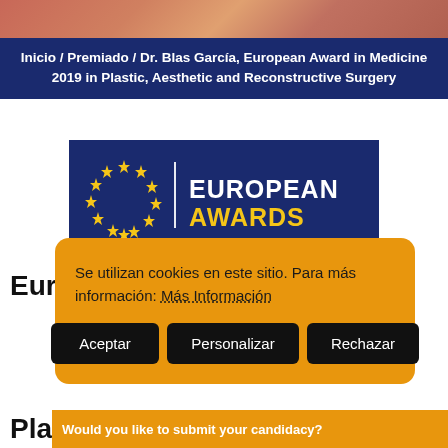[Figure (photo): Partial top image strip showing warm-toned photograph]
Inicio / Premiado / Dr. Blas García, European Award in Medicine 2019 in Plastic, Aesthetic and Reconstructive Surgery
[Figure (logo): European Awards logo on dark blue background with EU stars and bicolor text: EUROPEAN in white, AWARDS in yellow]
European Awards in Medicine
Se utilizan cookies en este sitio. Para más información: Más Información
Aceptar   Personalizar   Rechazar
Pla  Would you like to submit your candidacy?